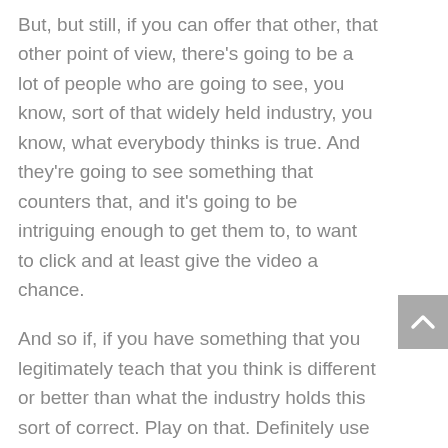But, but still, if you can offer that other, that other point of view, there's going to be a lot of people who are going to see, you know, sort of that widely held industry, you know, what everybody thinks is true. And they're going to see something that counters that, and it's going to be intriguing enough to get them to, to want to click and at least give the video a chance.
And so if, if you have something that you legitimately teach that you think is different or better than what the industry holds this sort of correct. Play on that. Definitely use it. Don't exaggerate it though. Don't, don't be too antagonistic about it. So there's a handful of things. Yeah.
Spencer Haws: Those are really great strategies.
Something that perhaps listeners out there can implement on their own channels. And I, I want to